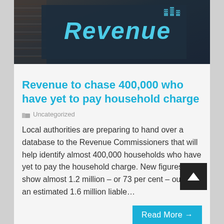[Figure (photo): Dark blue/grey sign reading 'Revenue' with building icons, partially cropped at top]
Revenue to chase 400,000 who have yet to pay household charge
Uncategorized
Local authorities are preparing to hand over a database to the Revenue Commissioners that will help identify almost 400,000 households who have yet to pay the household charge. New figures show almost 1.2 million – or 73 per cent – out of an estimated 1.6 million liable…
Read More →